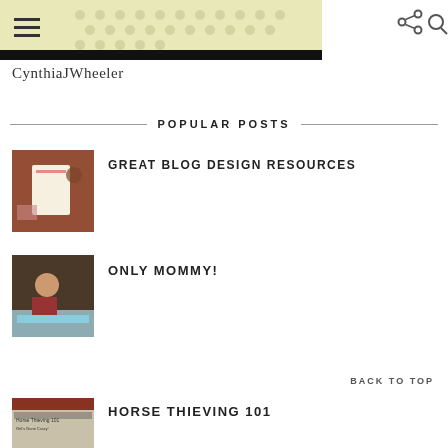[Figure (screenshot): Blog header image with decorative dots pattern on yellow-green background and hamburger menu icon]
CynthiaJWheeler
POPULAR POSTS
[Figure (photo): Thumbnail image of craft/blog design supplies on dark wooden table]
GREAT BLOG DESIGN RESOURCES
[Figure (photo): Thumbnail image of child eating at table with blue placemat]
ONLY MOMMY!
BACK TO TOP
[Figure (screenshot): Thumbnail image of Horse Thieving 101 blog post]
HORSE THIEVING 101